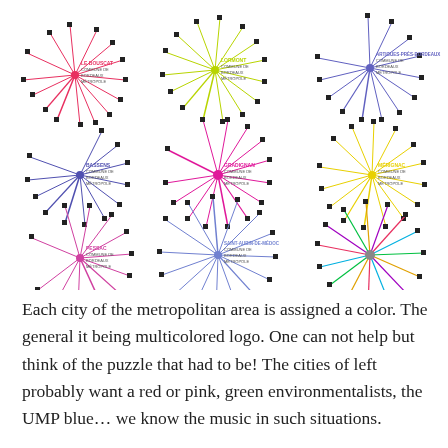[Figure (network-graph): Grid of 9 network/star graph diagrams (3x3) showing commune connections for cities in Bordeaux Métropole. Each graph has a central hub with radiating lines to peripheral nodes (black squares). Colors and city names: top row - Le Bouscat (pink/red), Lormont (green-yellow), Artigues-près-Bordeaux (blue-purple); middle row - Bassens (blue-purple), Brach/Gradignan (magenta/pink), Mérignac (yellow); bottom row - Pessac (pink/magenta), Saint-Aubin-de-Médoc (blue-periwinkle), unnamed (multicolor). Each graph is labeled with city name and 'COMMUNE DE BORDEAUX MÉTROPOLE'.]
Each city of the metropolitan area is assigned a color. The general it being multicolored logo. One can not help but think of the puzzle that had to be! The cities of left probably want a red or pink, green environmentalists, the UMP blue… we know the music in such situations.